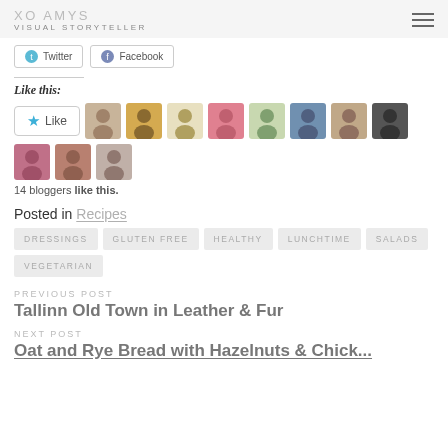XO AMYS
VISUAL STORYTELLER
[Figure (other): Twitter and Facebook share buttons]
Like this:
[Figure (other): Like button with 14 blogger avatars]
14 bloggers like this.
Posted in Recipes
DRESSINGS   GLUTEN FREE   HEALTHY   LUNCHTIME   SALADS   VEGETARIAN
PREVIOUS POST
Tallinn Old Town in Leather & Fur
NEXT POST